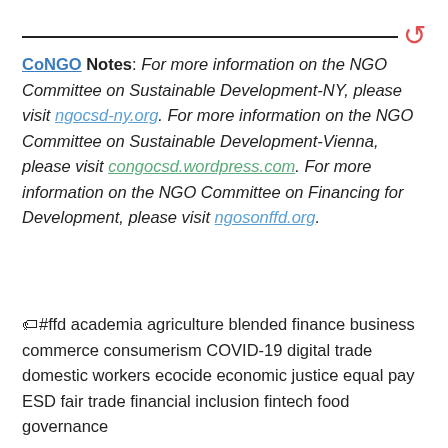CoNGO Notes: For more information on the NGO Committee on Sustainable Development-NY, please visit ngocsd-ny.org. For more information on the NGO Committee on Sustainable Development-Vienna, please visit congocsd.wordpress.com. For more information on the NGO Committee on Financing for Development, please visit ngosonffd.org.
#ffd academia agriculture blended finance business commerce consumerism COVID-19 digital trade domestic workers ecocide economic justice equal pay ESD fair trade financial inclusion fintech food governance